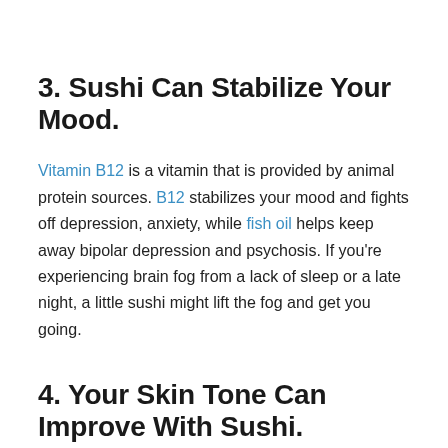3. Sushi Can Stabilize Your Mood.
Vitamin B12 is a vitamin that is provided by animal protein sources. B12 stabilizes your mood and fights off depression, anxiety, while fish oil helps keep away bipolar depression and psychosis. If you're experiencing brain fog from a lack of sleep or a late night, a little sushi might lift the fog and get you going.
4. Your Skin Tone Can Improve With Sushi.